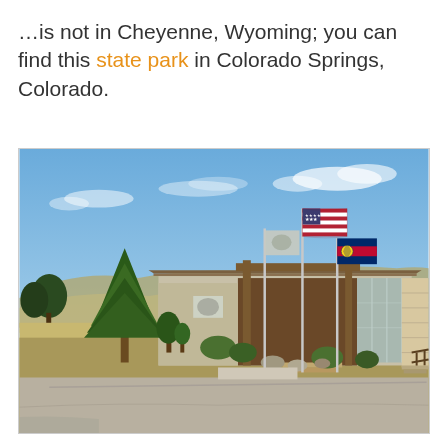…is not in Cheyenne, Wyoming; you can find this state park in Colorado Springs, Colorado.
[Figure (photo): Exterior of a state park visitor center building in Colorado Springs, Colorado. A pine tree stands on the left. Two flagpoles fly the American flag and the Colorado state flag. The building has wood and glass architecture with a stone facade on the right side. The landscape includes dry grass hills and a paved parking area in the foreground under a partly cloudy blue sky.]